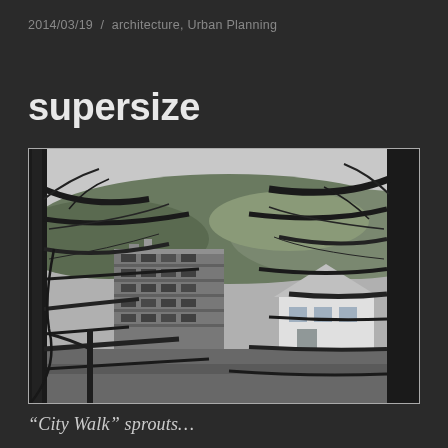2014/03/19  /  architecture, Urban Planning
supersize
[Figure (photo): Black and white photograph taken through bare winter tree branches, showing a multi-story apartment or condominium building under construction or recently completed on the left, a white residential house on the right, and forested hills in the background. The scene appears to be an urban neighborhood with new large-scale development.]
“City Walk” sprouts…